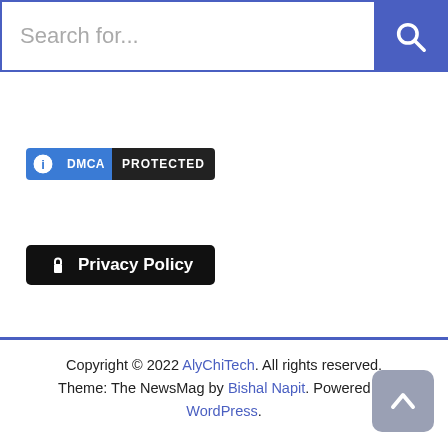Search for...
[Figure (other): DMCA Protected badge with blue icon and dark label]
Privacy Policy
Copyright © 2022 AlyChiTech. All rights reserved. Theme: The NewsMag by Bishal Napit. Powered by WordPress.